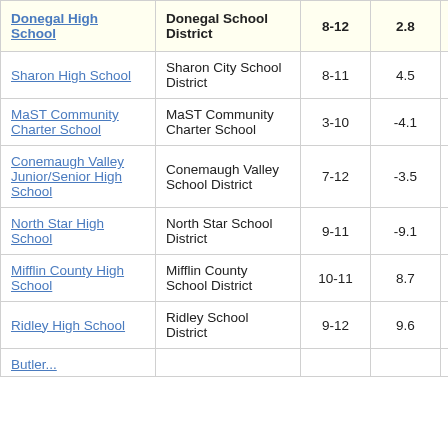| School | District | Grades | Score |  |
| --- | --- | --- | --- | --- |
| Donegal High School | Donegal School District | 8-12 | 2.8 |  |
| Sharon High School | Sharon City School District | 8-11 | 4.5 |  |
| MaST Community Charter School | MaST Community Charter School | 3-10 | -4.1 |  |
| Conemaugh Valley Junior/Senior High School | Conemaugh Valley School District | 7-12 | -3.5 |  |
| North Star High School | North Star School District | 9-11 | -9.1 |  |
| Mifflin County High School | Mifflin County School District | 10-11 | 8.7 |  |
| Ridley High School | Ridley School District | 9-12 | 9.6 |  |
| Butler... |  |  |  |  |